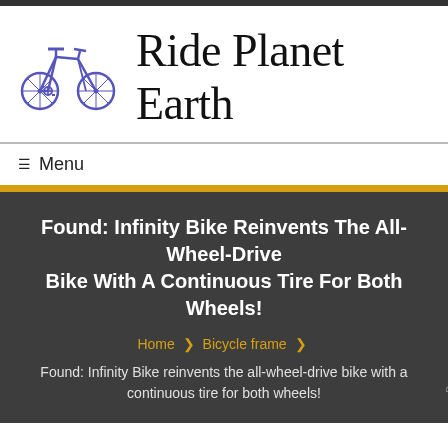[Figure (logo): Ride Planet Earth logo with a blue/purple bicycle icon on the left and large serif text 'Ride Planet Earth' on the right]
Ride Planet Earth
☰ Menu
Found: Infinity Bike Reinvents The All-Wheel-Drive Bike With A Continuous Tire For Both Wheels!
Home ❯ Bicycle frame ❯
Found: Infinity Bike reinvents the all-wheel-drive bike with a continuous tire for both wheels!